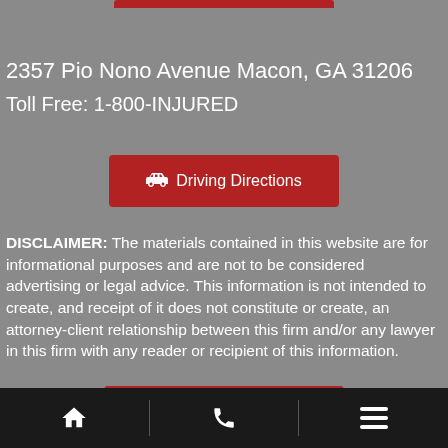2357 Pio Nono Avenue Macon, GA 31206
Toll Free: 1-800-INJURED
[Figure (other): Red button labeled 'Driving Directions' with a car icon]
DISCLAIMER: The materials contained in this website are for informational purposes and are not to be considered advertising or legal advice. This information is not intended to create, and receipt of it does not constitute or create, an attorney-client relationship between this firm and/or any lawyer in this firm with any reader or recipient of this information.
[Figure (other): Red button labeled 'Send Us a Message' with a speech bubble icon]
Navigation bar with home icon, phone icon, and menu icon